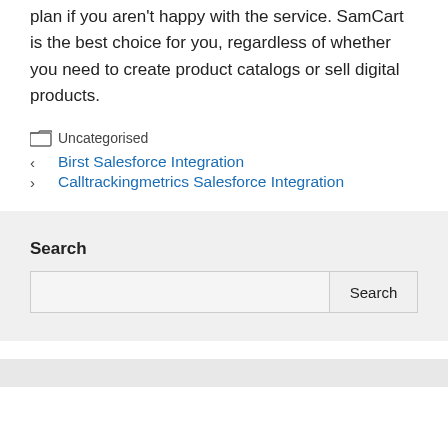plan if you aren't happy with the service. SamCart is the best choice for you, regardless of whether you need to create product catalogs or sell digital products.
Uncategorised
Birst Salesforce Integration
Calltrackingmetrics Salesforce Integration
Search
Search button